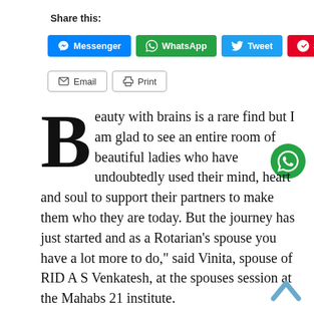Share this:
[Figure (screenshot): Social sharing buttons row 1: Messenger, WhatsApp, Tweet, Save]
[Figure (screenshot): Social sharing buttons row 2: Email, Print]
[Figure (logo): WhatsApp floating button (green circle with phone icon)]
Beauty with brains is a rare find but I am glad to see an entire room of beautiful ladies who have undoubtedly used their mind, heart and soul to support their partners to make them who they are today. But the journey has just started and as a Rotarian’s spouse you have a lot more to do,” said Vinita, spouse of RID A S Venkatesh, at the spouses session at the Mahabs 21 institute.